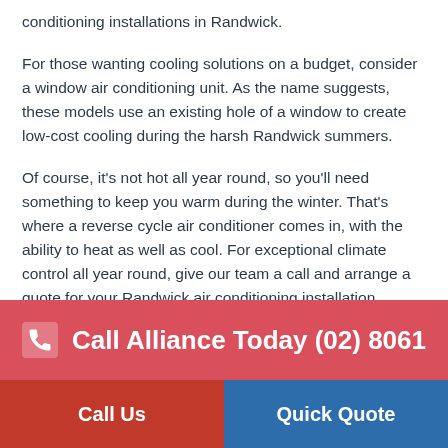conditioning installations in Randwick.
For those wanting cooling solutions on a budget, consider a window air conditioning unit. As the name suggests, these models use an existing hole of a window to create low-cost cooling during the harsh Randwick summers.
Of course, it’s not hot all year round, so you’ll need something to keep you warm during the winter. That’s where a reverse cycle air conditioner comes in, with the ability to heat as well as cool. For exceptional climate control all year round, give our team a call and arrange a quote for your Randwick air conditioning installation.
Call Alliance Today (02) 8061
Call Us
Quick Quote